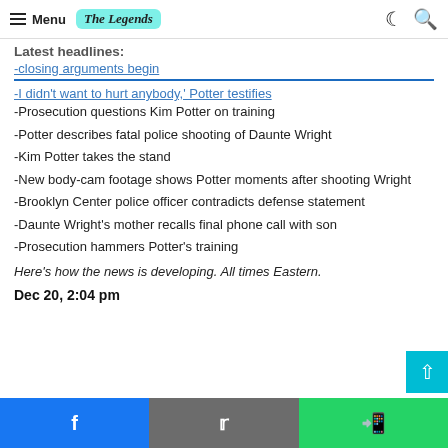Menu | The Legends
Latest headlines:
-closing arguments begin
-I didn't want to hurt anybody,' Potter testifies
-Prosecution questions Kim Potter on training
-Potter describes fatal police shooting of Daunte Wright
-Kim Potter takes the stand
-New body-cam footage shows Potter moments after shooting Wright
-Brooklyn Center police officer contradicts defense statement
-Daunte Wright's mother recalls final phone call with son
-Prosecution hammers Potter's training
Here's how the news is developing. All times Eastern.
Dec 20, 2:04 pm
Facebook | Twitter | WhatsApp